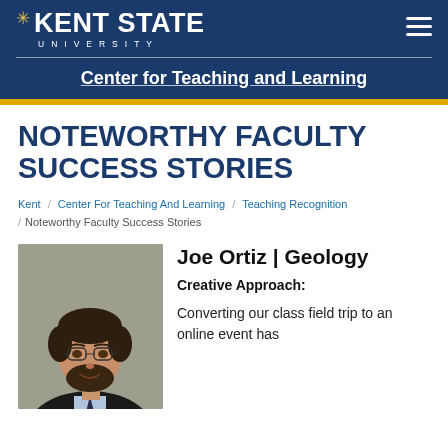KENT STATE UNIVERSITY — Center for Teaching and Learning
NOTEWORTHY FACULTY SUCCESS STORIES
Kent / Center For Teaching And Learning / Teaching Recognition / Noteworthy Faculty Success Stories
[Figure (photo): Headshot of Joe Ortiz, a man with dark hair and beard wearing glasses and a suit]
Joe Ortiz | Geology
Creative Approach:
Converting our class field trip to an online event has